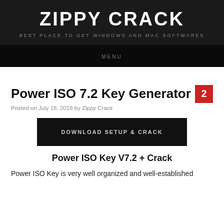ZIPPY CRACK
BEST PLACE TO GET WINDOWS AND MAC SOFTWARES
MENU
Power ISO 7.2 Key Generator
Posted on July 18, 2018 by Zippy Crack
[Figure (other): Download Setup & Crack button — black rectangle with white uppercase text]
Power ISO Key V7.2 + Crack
Power ISO Key is very well organized and well-established